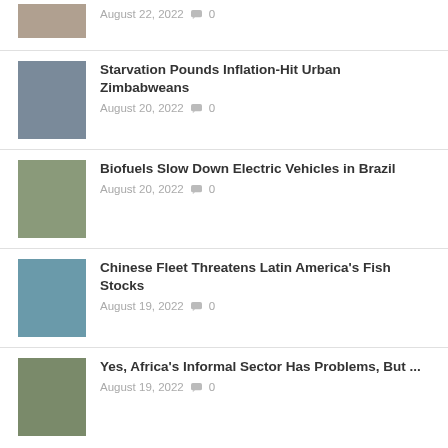August 22, 2022  0
Starvation Pounds Inflation-Hit Urban Zimbabweans
August 20, 2022  0
Biofuels Slow Down Electric Vehicles in Brazil
August 20, 2022  0
Chinese Fleet Threatens Latin America's Fish Stocks
August 19, 2022  0
Yes, Africa's Informal Sector Has Problems, But ...
August 19, 2022  0